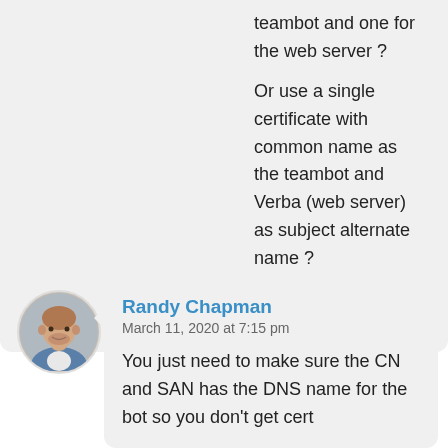teambot and one for the web server ?

Or use a single certificate with common name as the teambot and Verba (web server) as subject alternate name ?
★ Like
Reply
Randy Chapman
March 11, 2020 at 7:15 pm
You just need to make sure the CN and SAN has the DNS name for the bot so you don't get cert